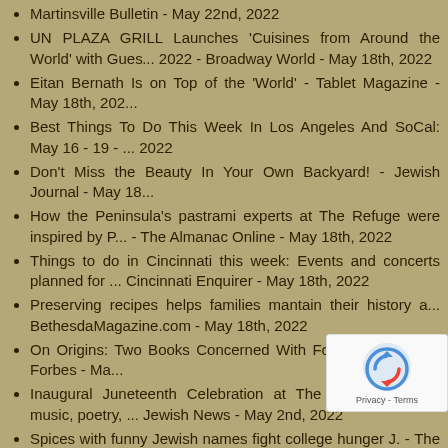Martinsville Bulletin - May 22nd, 2022
UN PLAZA GRILL Launches 'Cuisines from Around the World' with Gues... 2022 - Broadway World - May 18th, 2022
Eitan Bernath Is on Top of the 'World' - Tablet Magazine - May 18th, 202...
Best Things To Do This Week In Los Angeles And SoCal: May 16 - 19 - ... 2022
Don't Miss the Beauty In Your Own Backyard! - Jewish Journal - May 18...
How the Peninsula's pastrami experts at The Refuge were inspired by P... - The Almanac Online - May 18th, 2022
Things to do in Cincinnati this week: Events and concerts planned for ... Cincinnati Enquirer - May 18th, 2022
Preserving recipes helps families mantain their history a... BethesdaMagazine.com - May 18th, 2022
On Origins: Two Books Concerned With Food And Nation - Forbes - Ma...
Inaugural Juneteenth Celebration at The Walt to feature music, poetry, ... Jewish News - May 2nd, 2022
Spices with funny Jewish names fight college hunger J. - The Jewish N... California - May 2nd, 2022
Pray for the realisation of an enduring peace - Australian Jewish News - ...
Things to do in LA This Week [5-2-2022 to 5-6-2022] - We Like L.A. - Ma...
Jessie Ware and mum Lennie take Table Manners on tour - review... Evening News - May 2nd, 2022
22 Bold Black-Owned Brands To Support This Mothers Day...
Readers reply: why there is no culture of salami-making ... May 2nd, 2022
Foodstuff: Gather 'round the Tabl... AspenTimes.com - The Aspen...